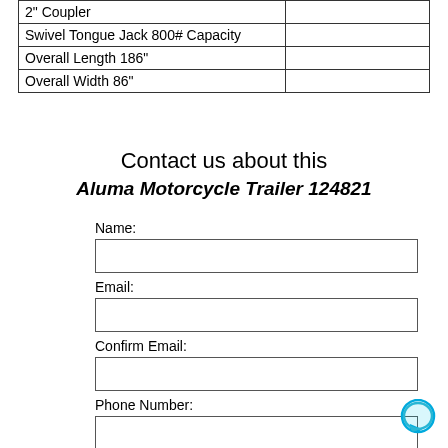|  |  |
| --- | --- |
| 2" Coupler |  |
| Swivel Tongue Jack 800# Capacity |  |
| Overall Length 186" |  |
| Overall Width 86" |  |
Contact us about this
Aluma Motorcycle Trailer 124821
Name:
Email:
Confirm Email:
Phone Number:
Questions: